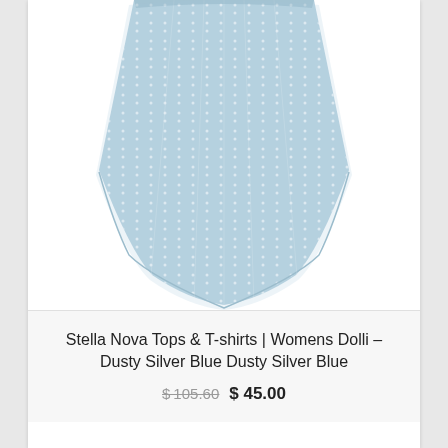[Figure (photo): A dusty silver blue sheer top/blouse with white dot pattern on light blue fabric, shown from below the neckline, flowing skirt-like hem, on white background.]
Stella Nova Tops & T-shirts | Womens Dolli – Dusty Silver Blue Dusty Silver Blue
$105.60  $ 45.00